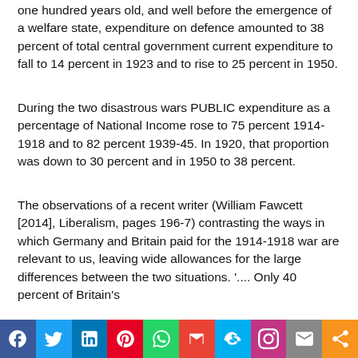one hundred years old, and well before the emergence of a welfare state, expenditure on defence amounted to 38 percent of total central government current expenditure to fall to 14 percent in 1923 and to rise to 25 percent in 1950.
During the two disastrous wars PUBLIC expenditure as a percentage of National Income rose to 75 percent 1914-1918 and to 82 percent 1939-45. In 1920, that proportion was down to 30 percent and in 1950 to 38 percent.
The observations of a recent writer (William Fawcett [2014], Liberalism, pages 196-7) contrasting the ways in which Germany and Britain paid for the 1914-1918 war are relevant to us, leaving wide allowances for the large differences between the two situations. '.... Only 40 percent of Britain's
[Figure (infographic): Social sharing bar at the bottom with icons for Facebook, Twitter, LinkedIn, Pinterest, WhatsApp, Gmail, Skype, Instagram, Email, and Share]